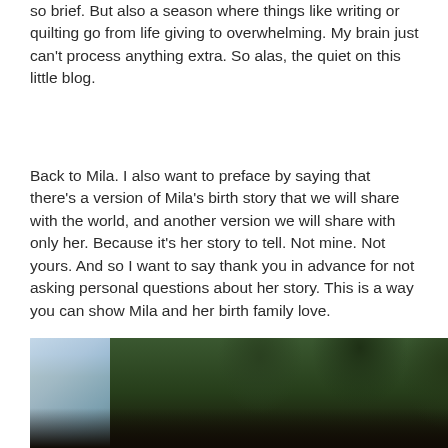so brief. But also a season where things like writing or quilting go from life giving to overwhelming. My brain just can't process anything extra. So alas, the quiet on this little blog.
Back to Mila. I also want to preface by saying that there's a version of Mila's birth story that we will share with the world, and another version we will share with only her. Because it's her story to tell. Not mine. Not yours. And so I want to say thank you in advance for not asking personal questions about her story. This is a way you can show Mila and her birth family love.
[Figure (photo): Outdoor photo showing trees with dense foliage against a sky, partially lit scene with shadows, dark foreground]